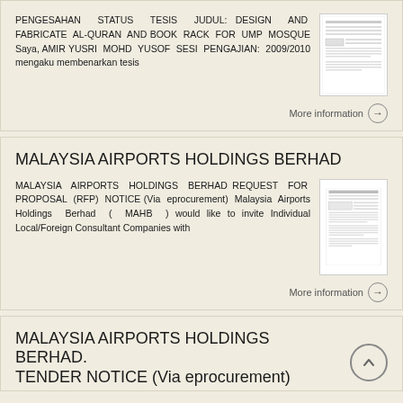PENGESAHAN STATUS TESIS JUDUL: DESIGN AND FABRICATE AL-QURAN AND BOOK RACK FOR UMP MOSQUE Saya, AMIR YUSRI MOHD YUSOF SESI PENGAJIAN: 2009/2010 mengaku membenarkan tesis
More information →
MALAYSIA AIRPORTS HOLDINGS BERHAD
MALAYSIA AIRPORTS HOLDINGS BERHAD REQUEST FOR PROPOSAL (RFP) NOTICE (Via eprocurement) Malaysia Airports Holdings Berhad ( MAHB ) would like to invite Individual Local/Foreign Consultant Companies with
More information →
MALAYSIA AIRPORTS HOLDINGS BERHAD. TENDER NOTICE (Via eprocurement)